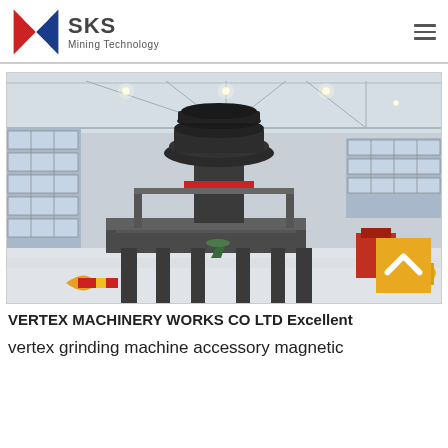SKS Mining Technology
[Figure (photo): Large industrial cone crusher machine installed in a modern factory warehouse with tall windows and bright lighting. The machine stands on steel legs on an elevated platform, with a large cylindrical top section. The warehouse floor is white and clean, with other machinery visible in the background.]
VERTEX MACHINERY WORKS CO LTD Excellent
vertex grinding machine accessory magnetic